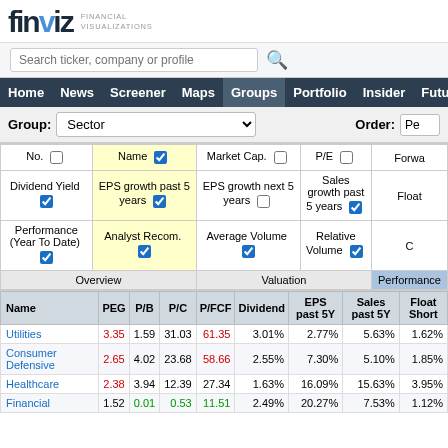finviz FINANCIAL VISUALIZATIONS
Search ticker, company or profile
Home | News | Screener | Maps | Groups | Portfolio | Insider | Futures
Group: Sector   Order: Pe
| No. | Name | Market Cap. | P/E | Forwa |
| --- | --- | --- | --- | --- |
| ☐ | ☑ | ☐ | ☐ |  |
| Dividend Yield | EPS growth past 5 years | EPS growth next 5 years | Sales growth past 5 years | Float |
| --- | --- | --- | --- | --- |
| ☑ | ☑ | ☐ | ☑ |  |
| Performance (Year To Date) | Analyst Recom. | Average Volume | Relative Volume | C |
| --- | --- | --- | --- | --- |
| ☑ | ☑ | ☑ | ☑ |  |
| Overview | Valuation | Performance |
| --- | --- | --- |
| Name | PEG | P/B | P/C | P/FCF | Dividend | EPS past 5Y | Sales past 5Y | Float Short |
| --- | --- | --- | --- | --- | --- | --- | --- | --- |
| Utilities | 3.35 | 1.59 | 31.03 | 61.35 | 3.01% | 2.77% | 5.63% | 1.62% |
| Consumer Defensive | 2.65 | 4.02 | 23.68 | 58.66 | 2.55% | 7.30% | 5.10% | 1.85% |
| Healthcare | 2.38 | 3.94 | 12.39 | 27.34 | 1.63% | 16.09% | 15.63% | 3.95% |
| Financial | 1.52 | 0.01 | 0.53 | 11.51 | 2.49% | 20.27% | 7.53% | 1.12% |